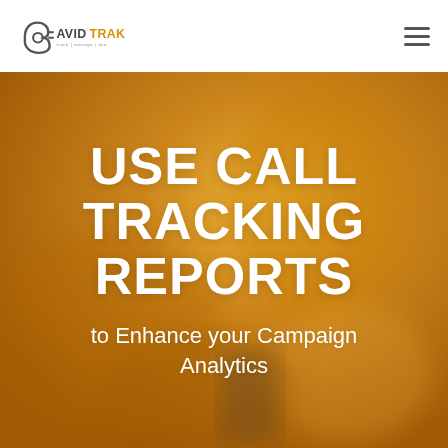[Figure (logo): AvidTrak logo — stylized 'a' icon followed by 'AVID' in dark gray and 'TRAK' in orange/gold, with tagline text below]
USE CALL TRACKING REPORTS
to Enhance your Campaign Analytics
[Figure (photo): Background photo of a person on a phone call near a laptop, with a hand holding a smartphone in the foreground, overlaid with an orange/amber translucent filter]